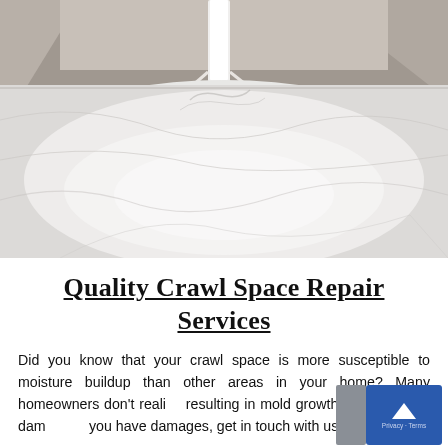[Figure (photo): Crawl space interior with white plastic vapor barrier sheeting covering the ground. A white support column/pipe is visible in the center background. The space has a low ceiling draped with more plastic sheeting.]
Quality Crawl Space Repair Services
Did you know that your crawl space is more susceptible to moisture buildup than other areas in your home? Many homeowners don't realize, resulting in mold growth and structural damage. If you have damages, get in touch with us today. We